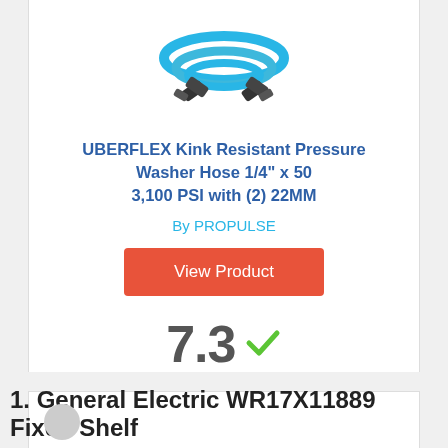[Figure (photo): Blue pressure washer hose coiled/crossed with black connectors on ends]
UBERFLEX Kink Resistant Pressure Washer Hose 1/4" x 50 3,100 PSI with (2) 22MM
By PROPULSE
View Product
7.3 ✓
Score
1. General Electric WR17X11889 Fixed Shelf